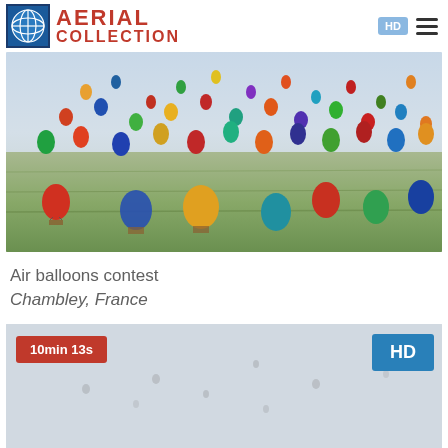AERIAL COLLECTION
[Figure (photo): Aerial view of hundreds of colorful hot air balloons over green fields in Chambley, France]
Air balloons contest
Chambley, France
[Figure (photo): Second video thumbnail showing balloons, with '10min 13s' red badge and 'HD' blue badge]